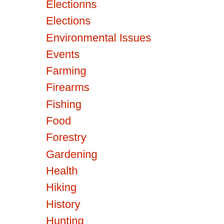Electionns
Elections
Environmental Issues
Events
Farming
Firearms
Fishing
Food
Forestry
Gardening
Health
Hiking
History
Hunting
Landowner Issues